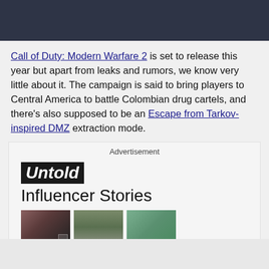[Figure (other): Dark navy/slate colored header banner area]
Call of Duty: Modern Warfare 2 is set to release this year but apart from leaks and rumors, we know very little about it. The campaign is said to bring players to Central America to battle Colombian drug cartels, and there's also supposed to be an Escape from Tarkov-inspired DMZ extraction mode.
[Figure (screenshot): Advertisement block showing 'Untold Influencer Stories' with three thumbnail images of people]